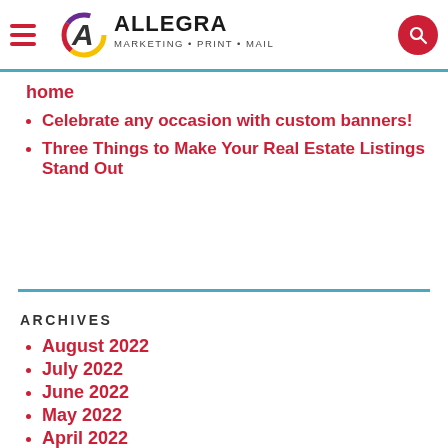Allegra Marketing Print Mail — navigation header with hamburger menu and search button
home
Celebrate any occasion with custom banners!
Three Things to Make Your Real Estate Listings Stand Out
ARCHIVES
August 2022
July 2022
June 2022
May 2022
April 2022